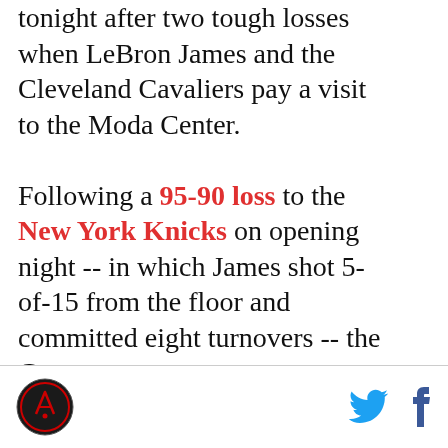tonight after two tough losses when LeBron James and the Cleveland Cavaliers pay a visit to the Moda Center.

Following a 95-90 loss to the New York Knicks on opening night -- in which James shot 5-of-15 from the floor and committed eight turnovers -- the Cavs
[logo] [twitter] [facebook]